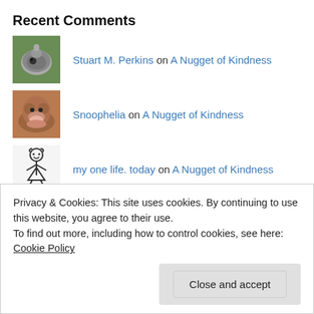Recent Comments
Stuart M. Perkins on A Nugget of Kindness
Snoophelia on A Nugget of Kindness
my one life. today on A Nugget of Kindness
Stuart M. Perkins on A Nugget of Kindness
my one life. today on A Nugget of Kindness
Privacy & Cookies: This site uses cookies. By continuing to use this website, you agree to their use. To find out more, including how to control cookies, see here: Cookie Policy